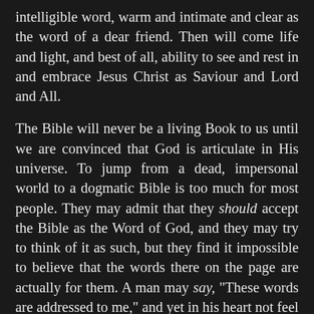intelligible word, warm and intimate and clear as the word of a dear friend. Then will come life and light, and best of all, ability to see and rest in and embrace Jesus Christ as Saviour and Lord and All.
The Bible will never be a living Book to us until we are convinced that God is articulate in His universe. To jump from a dead, impersonal world to a dogmatic Bible is too much for most people. They may admit that they should accept the Bible as the Word of God, and they may try to think of it as such, but they find it impossible to believe that the words there on the page are actually for them. A man may say, "These words are addressed to me," and yet in his heart not feel and know that they are. He is the victim of a divided psychology. He tries to think of God as mute everywhere else and vocal only in a book.